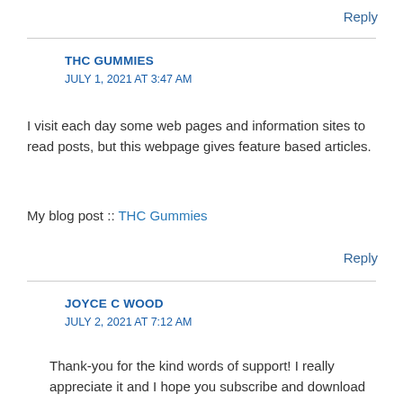Reply
THC GUMMIES
JULY 1, 2021 AT 3:47 AM
I visit each day some web pages and information sites to read posts, but this webpage gives feature based articles.
My blog post :: THC Gummies
Reply
JOYCE C WOOD
JULY 2, 2021 AT 7:12 AM
Thank-you for the kind words of support! I really appreciate it and I hope you subscribe and download the FREE ebook!